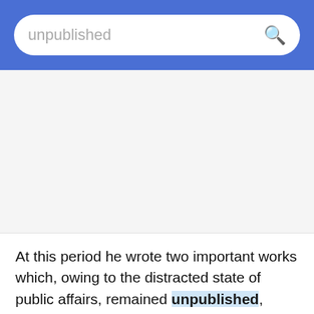unpublished [search bar]
At this period he wrote two important works which, owing to the distracted state of public affairs, remained unpublished, Institutiones juris ecclesiastici and Praelectiones juris ecclesiastici.